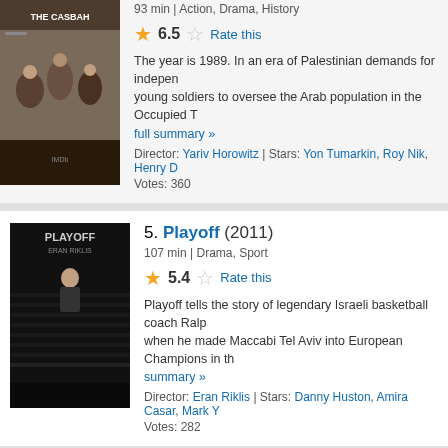[Figure (photo): Movie poster for 'The Casbah' showing soldiers]
93 min | Action, Drama, History
6.5 Rate this
The year is 1989. In an era of Palestinian demands for independence, young soldiers to oversee the Arab population in the Occupied T... full summary »
Director: Yariv Horowitz | Stars: Yon Tumarkin, Roy Nik, Henry D...
Votes: 360
5. Playoff (2011)
[Figure (photo): Movie poster for 'Playoff' showing a man in a dark theater]
107 min | Drama, Sport
5.4 Rate this
Playoff tells the story of legendary Israeli basketball coach Ralph... when he made Maccabi Tel Aviv into European Champions in th... summary »
Director: Eran Riklis | Stars: Danny Huston, Amira Casar, Mark ...
Votes: 282
6. Flipping Out (2007)
[Figure (photo): Movie poster for 'Flipping Out' showing a goat-like figure]
60 min | Documentary, War
7.4 Rate this